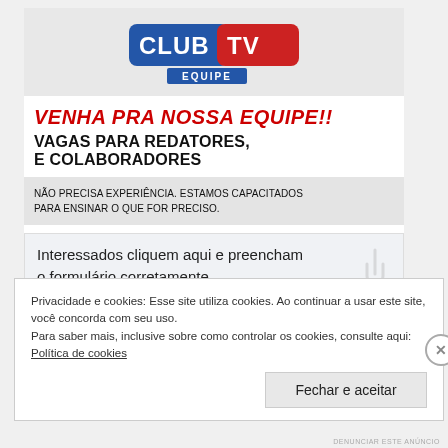[Figure (logo): Club TV Equipe logo — blue and red rounded rectangle with white text 'CLUB TV' and blue banner 'EQUIPE' below]
VENHA PRA NOSSA EQUIPE!!
VAGAS PARA REDATORES, E COLABORADORES
NÃO PRECISA EXPERIÊNCIA. ESTAMOS CAPACITADOS PARA ENSINAR O QUE FOR PRECISO.
Interessados cliquem aqui e preencham o formulário corretamente.
Privacidade e cookies: Esse site utiliza cookies. Ao continuar a usar este site, você concorda com seu uso. Para saber mais, inclusive sobre como controlar os cookies, consulte aqui: Política de cookies
Fechar e aceitar